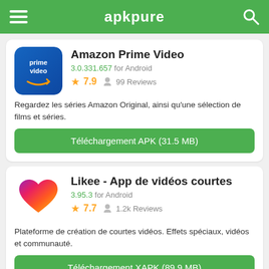apkpure
Amazon Prime Video
3.0.331.657 for Android
★ 7.9  👤 99 Reviews
Regardez les séries Amazon Original, ainsi qu'une sélection de films et séries.
Téléchargement APK (31.5 MB)
Likee - App de vidéos courtes
3.95.3 for Android
★ 7.7  👤 1.2k Reviews
Plateforme de création de courtes vidéos. Effets spéciaux, vidéos et communauté.
Téléchargement XAPK (89.9 MB)